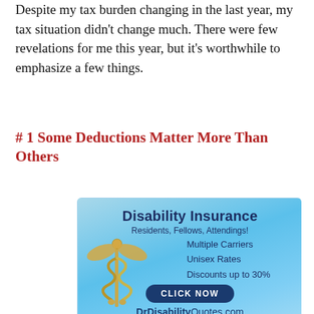Despite my tax burden changing in the last year, my tax situation didn't change much. There were few revelations for me this year, but it's worthwhile to emphasize a few things.
# 1 Some Deductions Matter More Than Others
[Figure (infographic): Disability Insurance advertisement banner. Blue gradient background with caduceus medical symbol. Text: 'Disability Insurance', 'Residents, Fellows, Attendings!', 'Multiple Carriers', 'Unisex Rates', 'Discounts up to 30%', 'CLICK NOW' button, 'DrDisabilityQuotes.com']